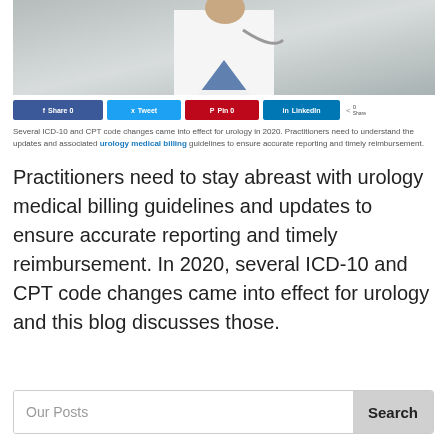[Figure (photo): Doctor in white coat with stethoscope, holding up a finger, gray background]
f Share 0   Tweet   P Pin 0   in LinkedIn   < 0 Share
Several ICD-10 and CPT code changes came into effect for urology in 2020. Practitioners need to understand the updates and associated urology medical billing guidelines to ensure accurate reporting and timely reimbursement.
Practitioners need to stay abreast with urology medical billing guidelines and updates to ensure accurate reporting and timely reimbursement. In 2020, several ICD-10 and CPT code changes came into effect for urology and this blog discusses those.
Our Posts   Search